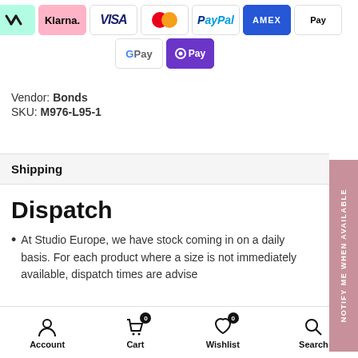[Figure (other): Payment method icons: Afterpay, Klarna, Visa, Mastercard, PayPal, Amex, Apple Pay, Google Pay, OPay]
Vendor: Bonds
SKU: M976-L95-1
Shipping
Dispatch
At Studio Europe, we have stock coming in on a daily basis. For each product where a size is not immediately available, dispatch times are advise
[Figure (other): Notify Me When Available sidebar button]
Account | Cart 0 | Wishlist 0 | Search